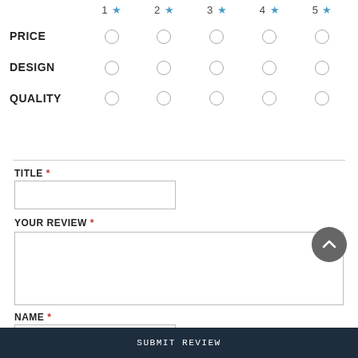|  | 1 ★ | 2 ★ | 3 ★ | 4 ★ | 5 ★ |
| --- | --- | --- | --- | --- | --- |
| PRICE | ○ | ○ | ○ | ○ | ○ |
| DESIGN | ○ | ○ | ○ | ○ | ○ |
| QUALITY | ○ | ○ | ○ | ○ | ○ |
TITLE *
YOUR REVIEW *
NAME *
SUBMIT REVIEW